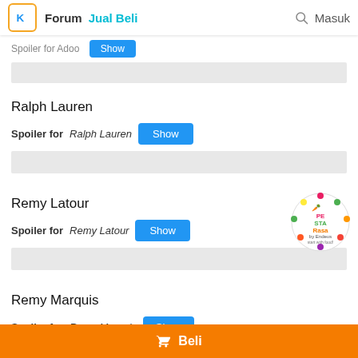Forum Jual Beli Masuk
Spoiler for Adoo [Show]
Ralph Lauren
Spoiler for Ralph Lauren [Show]
Remy Latour
Spoiler for Remy Latour [Show]
[Figure (logo): Pesta Rasa by Endeus - start with food! circular logo]
Remy Marquis
Spoiler for Remy Marquis [Show]
Beli